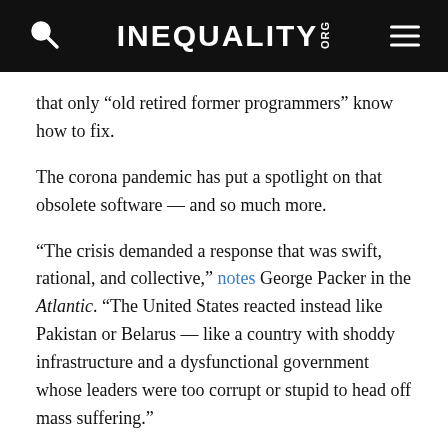INEQUALITY.ORG
that only “old retired former programmers” know how to fix.
The corona pandemic has put a spotlight on that obsolete software — and so much more.
“The crisis demanded a response that was swift, rational, and collective,” notes George Packer in the Atlantic. “The United States reacted instead like Pakistan or Belarus — like a country with shoddy infrastructure and a dysfunctional government whose leaders were too corrupt or stupid to head off mass suffering.”
So who to blame? Donald Trump makes an obvious and deserving target. But the failures of our ruling order predate his troubled and reckless administration. Our “chronic ills” — everything from “a corrupt political class” to a “heartless economy” — have gone, Packer